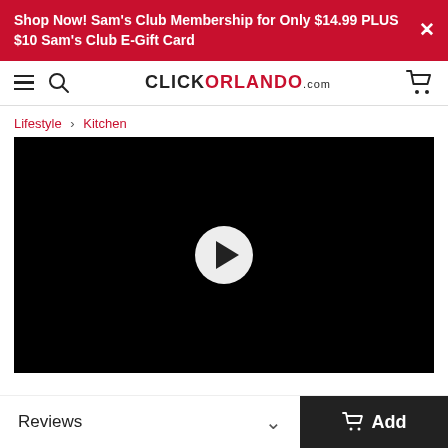Shop Now! Sam's Club Membership for Only $14.99 PLUS $10 Sam's Club E-Gift Card
[Figure (screenshot): ClickOrlando.com navigation bar with hamburger menu, search icon, logo, and cart icon]
Lifestyle › Kitchen
[Figure (screenshot): Black video player with white circular play button in the center]
Reviews